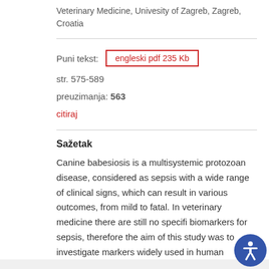Veterinary Medicine, Univesity of Zagreb, Zagreb, Croatia
Puni tekst: engleski pdf 235 Kb
str. 575-589
preuzimanja: 563
citiraj
Sažetak
Canine babesiosis is a multisystemic protozoan disease, considered as sepsis with a wide range of clinical signs, which can result in various outcomes, from mild to fatal. In veterinary medicine there are still no specific biomarkers for sepsis, therefore the aim of this study was to investigate markers widely used in human medicine and to evaluate their applicability